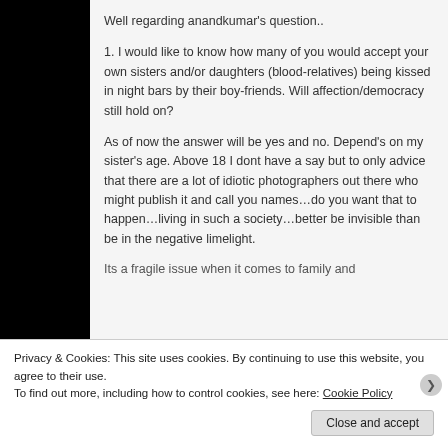Well regarding anandkumar's question..
1. I would like to know how many of you would accept your own sisters and/or daughters (blood-relatives) being kissed in night bars by their boy-friends. Will affection/democracy still hold on?
As of now the answer will be yes and no. Depend's on my sister's age. Above 18 I dont have a say but to only advice that there are a lot of idiotic photographers out there who might publish it and call you names…do you want that to happen…living in such a society…better be invisible than be in the negative limelight.
Its a fragile issue when it comes to family and
Privacy & Cookies: This site uses cookies. By continuing to use this website, you agree to their use.
To find out more, including how to control cookies, see here: Cookie Policy
Close and accept